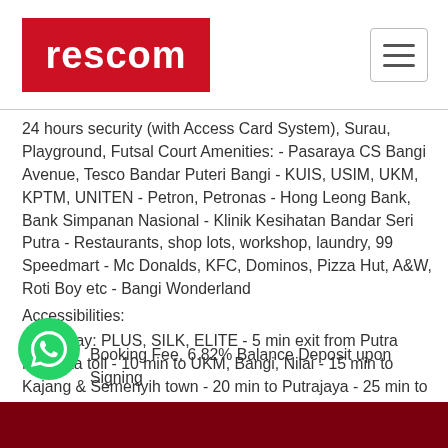[Figure (logo): Rescom logo - white text 'rescom' on red background rectangle]
24 hours security (with Access Card System), Surau, Playground, Futsal Court Amenities: - Pasaraya CS Bangi Avenue, Tesco Bandar Puteri Bangi - KUIS, USIM, UKM, KPTM, UNITEN - Petron, Petronas - Hong Leong Bank, Bank Simpanan Nasional - Klinik Kesihatan Bandar Seri Putra - Restaurants, shop lots, workshop, laundry, 99 Speedmart - Mc Donalds, KFC, Dominos, Pizza Hut, A&W, Roti Boy etc - Bangi Wonderland
Accessibilities:
- Highway: PLUS, SILK, ELITE - 5 min exit from Putra Mahkota toll - 10 min to UKM, Bangi, Nilai - 15 min to Kajang & Semenyih town - 20 min to Putrajaya - 25 min to KLIA / KLIA2 - 30 min to Seremban
Booking Fee, 6.82% Balance Deposit upon Signing